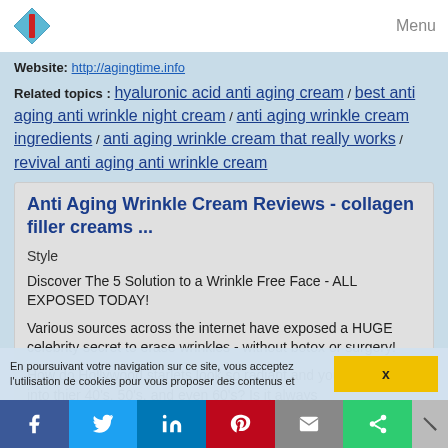Menu
Website: http://agingtime.info
Related topics : hyaluronic acid anti aging cream / best anti aging anti wrinkle night cream / anti aging wrinkle cream ingredients / anti aging wrinkle cream that really works / revival anti aging anti wrinkle cream
Anti Aging Wrinkle Cream Reviews - collagen filler creams ...
Style
Discover The 5 Solution to a Wrinkle Free Face - ALL EXPOSED TODAY!
Various sources across the internet have exposed a HUGE celebrity secret to erase wrinkles - without botox or surgery!
How do Hollywood starlets look so radiant and youthful well into thier 40's, 50's, and even 60's? Is it always
En poursuivant votre navigation sur ce site, vous acceptez l'utilisation de cookies pour vous proposer des contenus et